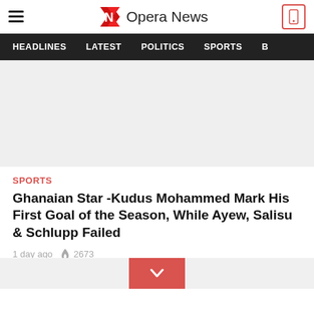Opera News — HEADLINES | LATEST | POLITICS | SPORTS
[Figure (photo): Light gray image placeholder for article header photo]
SPORTS
Ghanaian Star -Kudus Mohammed Mark His First Goal of the Season, While Ayew, Salisu & Schlupp Failed
1 day ago  2673